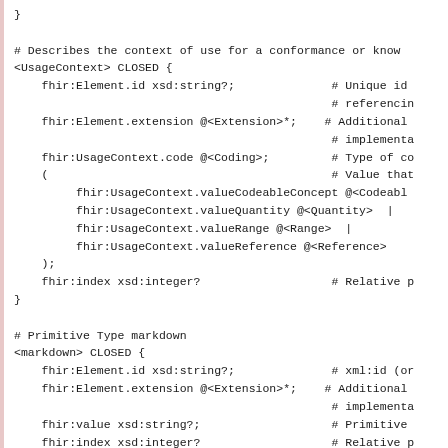}

# Describes the context of use for a conformance or know
<UsageContext> CLOSED {
    fhir:Element.id xsd:string?;              # Unique id
                                              # referencin
    fhir:Element.extension @<Extension>*;    # Additional
                                              # implementa
    fhir:UsageContext.code @<Coding>;         # Type of co
    (                                         # Value that
         fhir:UsageContext.valueCodeableConcept @<Codeabl
         fhir:UsageContext.valueQuantity @<Quantity>  |
         fhir:UsageContext.valueRange @<Range>  |
         fhir:UsageContext.valueReference @<Reference>
    );
    fhir:index xsd:integer?                   # Relative p
}

# Primitive Type markdown
<markdown> CLOSED {
    fhir:Element.id xsd:string?;              # xml:id (or
    fhir:Element.extension @<Extension>*;    # Additional
                                              # implementa
    fhir:value xsd:string?;                   # Primitive
    fhir:index xsd:integer?                   # Relative p
}